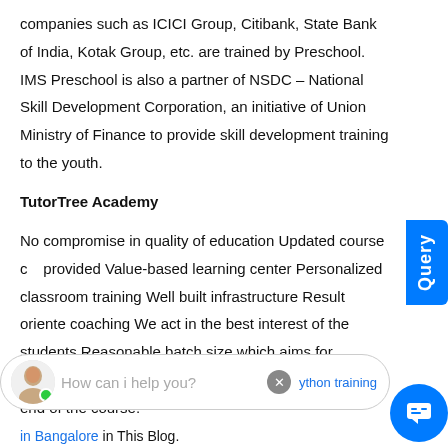companies such as ICICI Group, Citibank, State Bank of India, Kotak Group, etc. are trained by Preschool. IMS Preschool is also a partner of NSDC – National Skill Development Corporation, an initiative of Union Ministry of Finance to provide skill development training to the youth.
TutorTree Academy
No compromise in quality of education Updated course content provided Value-based learning center Personalized classroom training Well built infrastructure Result oriented coaching We act in the best interest of the students Reasonable batch size which aims for individual attention Adequate mock exam before the end of the course.
ython training inst in Bangalore in This Blog.